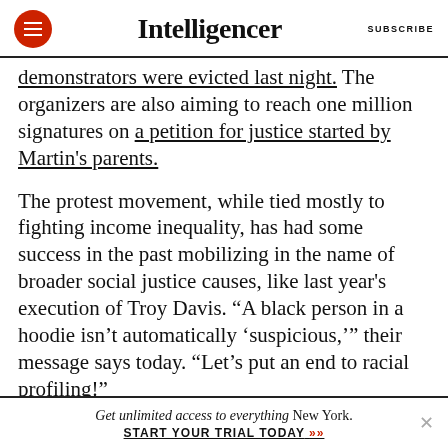Intelligencer | SUBSCRIBE
demonstrators were evicted last night. The organizers are also aiming to reach one million signatures on a petition for justice started by Martin's parents.
The protest movement, while tied mostly to fighting income inequality, has had some success in the past mobilizing in the name of broader social justice causes, like last year's execution of Troy Davis. “A black person in a hoodie isn’t automatically ‘suspicious,’” their message says today. “Let’s put an end to racial profiling!”
Get unlimited access to everything New York. START YOUR TRIAL TODAY »